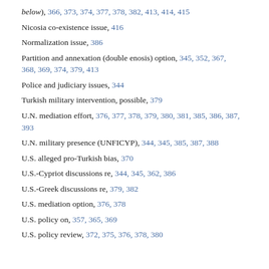below), 366, 373, 374, 377, 378, 382, 413, 414, 415
Nicosia co-existence issue, 416
Normalization issue, 386
Partition and annexation (double enosis) option, 345, 352, 367, 368, 369, 374, 379, 413
Police and judiciary issues, 344
Turkish military intervention, possible, 379
U.N. mediation effort, 376, 377, 378, 379, 380, 381, 385, 386, 387, 393
U.N. military presence (UNFICYP), 344, 345, 385, 387, 388
U.S. alleged pro-Turkish bias, 370
U.S.-Cypriot discussions re, 344, 345, 362, 386
U.S.-Greek discussions re, 379, 382
U.S. mediation option, 376, 378
U.S. policy on, 357, 365, 369
U.S. policy review, 372, 375, 376, 378, 380